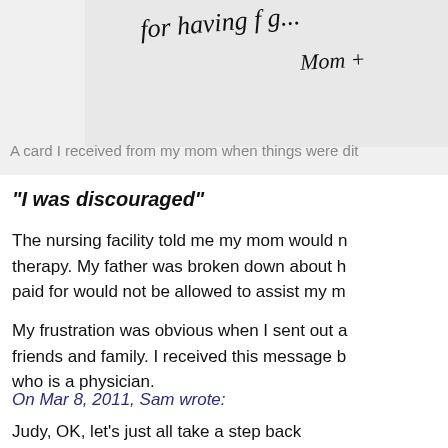[Figure (photo): Handwritten card with cursive text 'for having f g...' and 'Mom +' visible, shown on a light gray background]
A card I received from my mom when things were dit
“I was discouraged”
The nursing facility told me my mom would n therapy. My father was broken down about h paid for would not be allowed to assist my m
My frustration was obvious when I sent out a friends and family. I received this message b who is a physician.
On Mar 8, 2011, Sam wrote:
Judy, OK, let’s just all take a step back